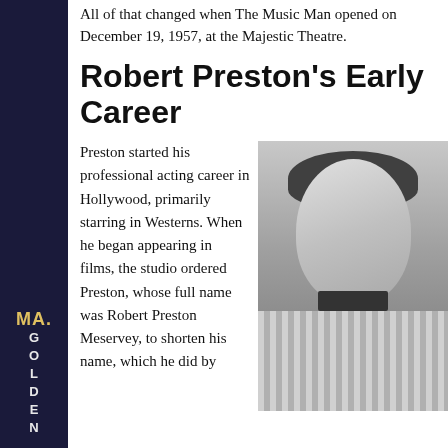All of that changed when The Music Man opened on December 19, 1957, at the Majestic Theatre.
Robert Preston's Early Career
Preston started his professional acting career in Hollywood, primarily starring in Westerns. When he began appearing in films, the studio ordered Preston, whose full name was Robert Preston Meservey, to shorten his name, which he did by
[Figure (photo): Black and white portrait photograph of Robert Preston, smiling, wearing a plaid/checkered jacket and a bow tie.]